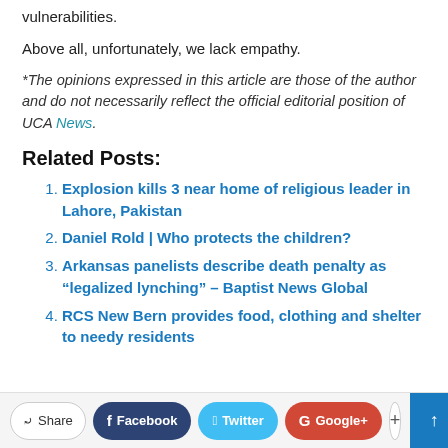vulnerabilities.
Above all, unfortunately, we lack empathy.
*The opinions expressed in this article are those of the author and do not necessarily reflect the official editorial position of UCA News.
Related Posts:
Explosion kills 3 near home of religious leader in Lahore, Pakistan
Daniel Rold | Who protects the children?
Arkansas panelists describe death penalty as “legalized lynching” – Baptist News Global
RCS New Bern provides food, clothing and shelter to needy residents
Share  Facebook  Twitter  Google+  +  ↑